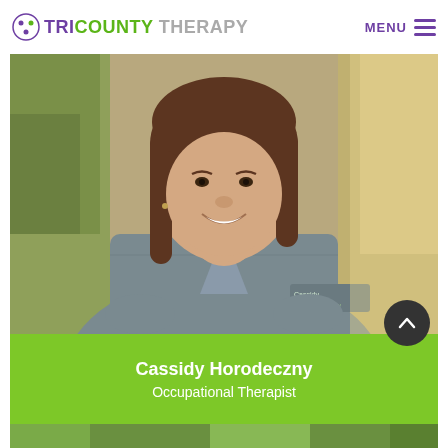Tri County Therapy — MENU
[Figure (photo): Portrait photo of Cassidy Horodeczny, a young woman with brown hair, smiling, wearing gray scrubs with 'Cassidy Tri-County Therapy' name tag, photographed outdoors with blurred trees in background]
Cassidy Horodeczny
Occupational Therapist
[Figure (photo): Partial view of another outdoor photo at the bottom of the page, showing green foliage]